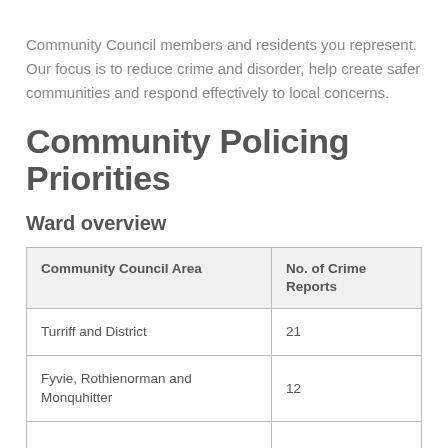Community Council members and residents you represent. Our focus is to reduce crime and disorder, help create safer communities and respond effectively to local concerns.
Community Policing Priorities
Ward overview
| Community Council Area | No. of Crime Reports |
| --- | --- |
| Turriff and District | 21 |
| Fyvie, Rothienorman and Monquhitter | 12 |
|  |  |